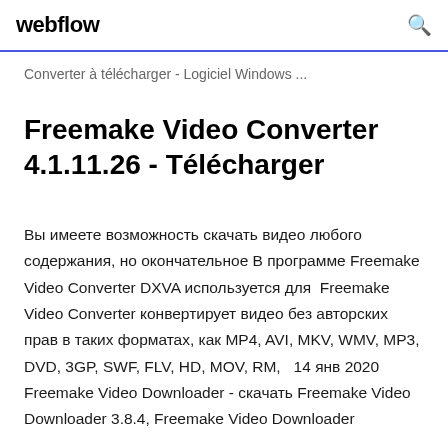webflow
Converter à télécharger - Logiciel Windows ...
Freemake Video Converter 4.1.11.26 - Télécharger
Вы имеете возможность скачать видео любого содержания, но окончательное В программе Freemake Video Converter DXVA используется для  Freemake Video Converter конвертирует видео без авторских прав в таких форматах, как MP4, AVI, MKV, WMV, MP3, DVD, 3GP, SWF, FLV, HD, MOV, RM,   14 янв 2020 Freemake Video Downloader - скачать Freemake Video Downloader 3.8.4, Freemake Video Downloader